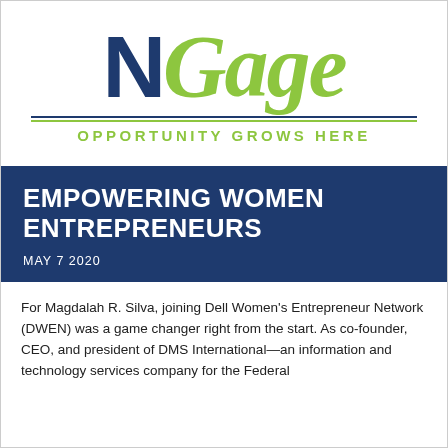[Figure (logo): NGage logo with large bold dark-blue 'N' and italic green 'Gage', double underline dividers, and tagline 'OPPORTUNITY GROWS HERE' in green]
EMPOWERING WOMEN ENTREPRENEURS
MAY 7 2020
For Magdalah R. Silva, joining Dell Women's Entrepreneur Network (DWEN) was a game changer right from the start. As co-founder, CEO, and president of DMS International—an information and technology services company for the Federal